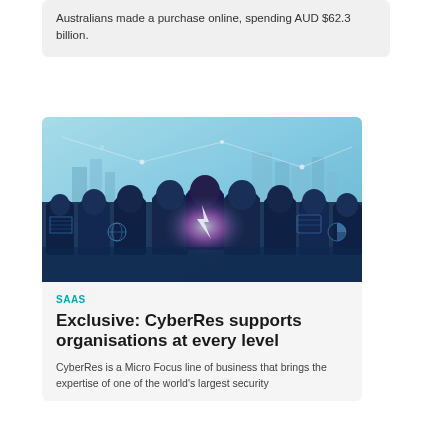Australians made a purchase online, spending AUD $62.3 billion.
[Figure (photo): Silhouettes of business people standing against a futuristic cityscape with glowing network connections and digital interface icons overlaid, tones of blue, teal, and pink/magenta.]
SAAS
Exclusive: CyberRes supports organisations at every level
CyberRes is a Micro Focus line of business that brings the expertise of one of the world's largest security